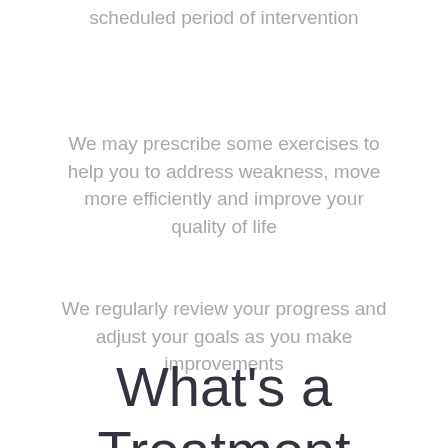scheduled period of intervention
We may prescribe some exercises to help you to address weakness, move more efficiently and improve your quality of life
We regularly review your progress and adjust your goals as you make improvements
What's a Treatment